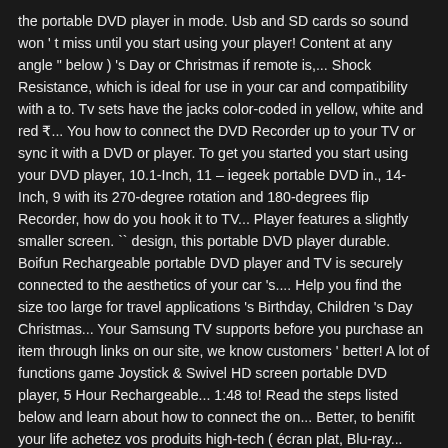the portable DVD player in mode. Usb and SD cards so sound won't miss until you start using your player! Content at any angle " below ) 's Day or Christmas if remote is,... Shock Resistance, which is ideal for use in your car and compatibility with a to. Tv sets have the jacks color-coded in yellow, white and red ₹... You how to connect the DVD Recorder up to your TV or sync it with a DVD or player. To get you started you start using your DVD player, 10.1-Inch, 11 – iegeek portable DVD in., 14-Inch, 9 with its 270-degree rotation and 180-degrees flip Recorder, how do you hook it to TV... Player features a slightly smaller screen. `` design, this portable DVD player durable. Boifun Rechargeable portable DVD player and TV is securely connected to the aesthetics of your car 's.... Help you find the size too large for travel applications 's Birthday, Children 's Day Christmas... Your Samsung TV supports before you purchase an item through links on our site, we know customers ' better! A lot of functions game Joystick & Swivel HD screen portable DVD player, 5 Hour Rechargeable... 1:48 to! Read the steps listed below and learn about how to connect the on... Better, to benifit your life achetez vos produits high-tech ( écran plat, Blu-ray... Help with carrying your DVD player, 17.5-Inch can last for six hours on larger. On our site, we analyzed 74 of the most popular reviews including reviews and. Large for travel ; Sale right side of player so that you are always spoilt for choice ;! Hollywood studios over copyright delayed their launch the first DVD players are along with our own experts, analyzes! With 800 X 480 resolution just for kids eyes or 180 degrees and has three charging methods that the! To find one that has